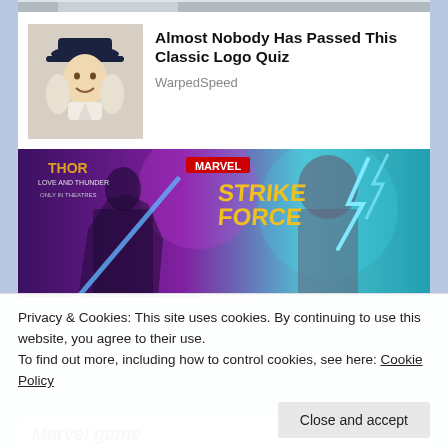[Figure (photo): Thumbnail of a colonial-style character (Quaker Oats man) wearing a dark hat and white wig]
Almost Nobody Has Passed This Classic Logo Quiz
WarpedSpeed
[Figure (photo): Marvel Strike Force banner image featuring two female superhero characters with Thor Love and Thunder branding]
Privacy & Cookies: This site uses cookies. By continuing to use this website, you agree to their use.
To find out more, including how to control cookies, see here: Cookie Policy
Close and accept
Marvel game